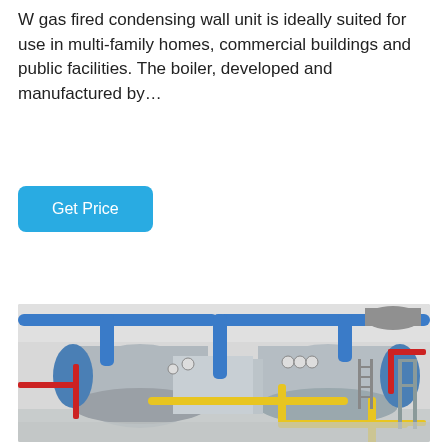W gas fired condensing wall unit is ideally suited for use in multi-family homes, commercial buildings and public facilities. The boiler, developed and manufactured by…
Get Price
[Figure (photo): Industrial boiler room with two large cylindrical blue boilers, blue overhead pipes, yellow gas pipes, red pipes, and metal ductwork on a white floor.]